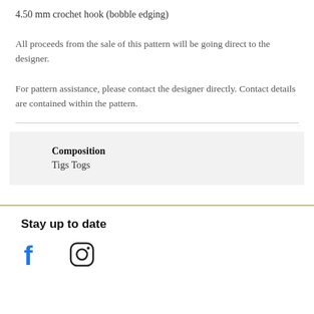4.50 mm crochet hook (bobble edging)
All proceeds from the sale of this pattern will be going direct to the designer.
For pattern assistance, please contact the designer directly. Contact details are contained within the pattern.
Composition
Tigs Togs
Stay up to date